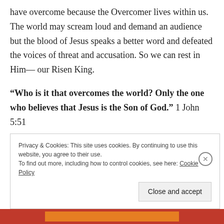have overcome because the Overcomer lives within us. The world may scream loud and demand an audience but the blood of Jesus speaks a better word and defeated the voices of threat and accusation. So we can rest in Him— our Risen King.
“Who is it that overcomes the world? Only the one who believes that Jesus is the Son of God.” 1 John 5:51
Privacy & Cookies: This site uses cookies. By continuing to use this website, you agree to their use. To find out more, including how to control cookies, see here: Cookie Policy